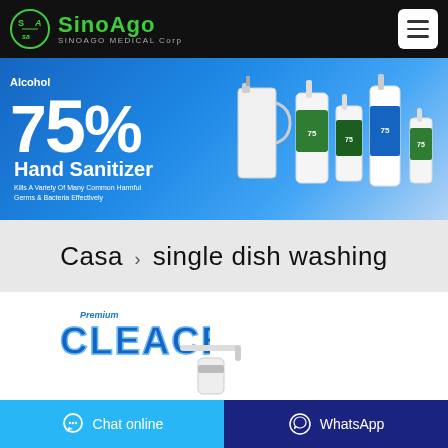SinoAgo MEDICAL Corp
[Figure (photo): Banner showing 75% Alcohol Hand Sanitizer product line with multiple bottles on blue gradient background. Text reads '75% Alcohol Hand Sanitizer - Kills A Variety Of Many Common Harmful Germs & Bacteria Effectively']
Casa > single dish washing
[Figure (logo): Cleace brand logo with blue stylized text]
[Figure (photo): White pump dispenser bottle product image]
Chat online
WhatsApp